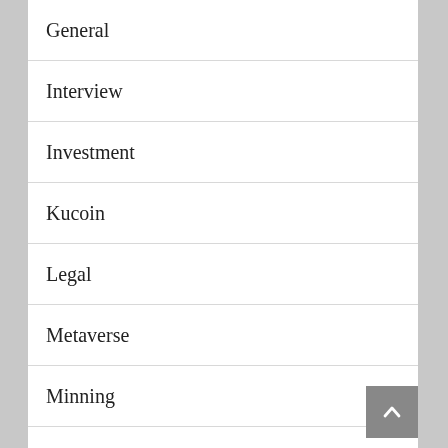General
Interview
Investment
Kucoin
Legal
Metaverse
Minning
NFT
Online
Podcast
Ripple
Survey